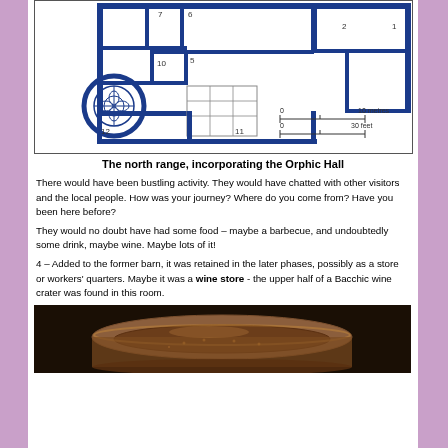[Figure (schematic): Floor plan of a north range building incorporating the Orphic Hall, shown in blue outline with numbered rooms (1-12), a scale bar showing 0-10 metres and 0-30 feet.]
The north range, incorporating the Orphic Hall
There would have been bustling activity. They would have chatted with other visitors and the local people. How was your journey? Where do you come from? Have you been here before?
They would no doubt have had some food – maybe a barbecue, and undoubtedly some drink, maybe wine. Maybe lots of it!
4 – Added to the former barn, it was retained in the later phases, possibly as a store or workers' quarters. Maybe it was a wine store - the upper half of a Bacchic wine crater was found in this room.
[Figure (photo): Photograph of the upper half of a Bacchic wine crater, a brown/terracotta wide bowl-shaped ceramic object photographed against a dark background.]